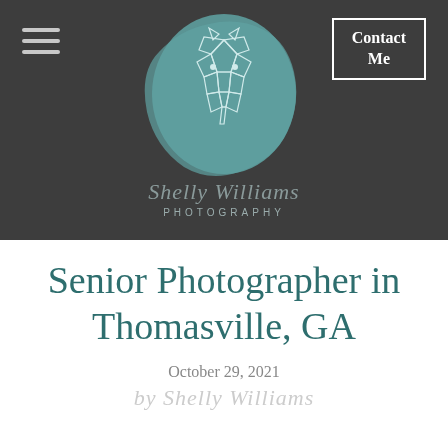[Figure (logo): Shelly Williams Photography logo — teal brushstroke background with geometric horse head illustration, script text 'Shelly Williams' and 'PHOTOGRAPHY' below]
Senior Photographer in Thomasville, GA
October 29, 2021
by Shelly Williams